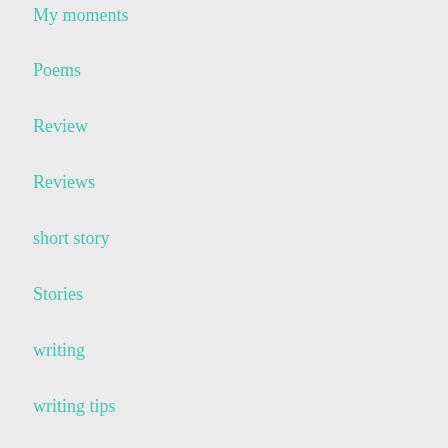My moments
Poems
Review
Reviews
short story
Stories
writing
writing tips